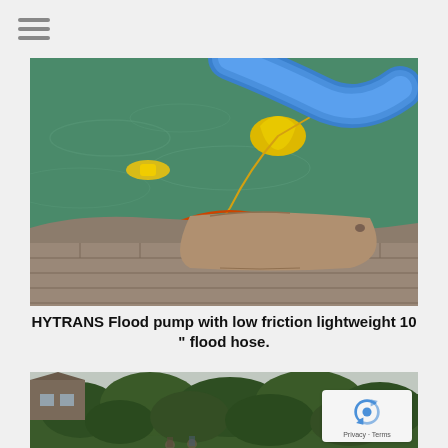[Figure (photo): HYTRANS Flood pump with blue large hose going into flood water, yellow buoys visible, orange and yellow ropes, wooden planks on a stone surface in the foreground]
HYTRANS Flood pump with low friction lightweight 10 " flood hose.
[Figure (photo): Outdoor scene with dense green trees/hedge, a brick house visible on the left, overcast sky, people visible at the bottom]